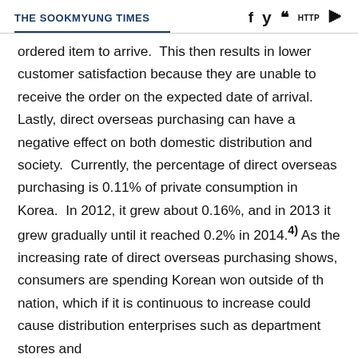THE SOOKMYUNG TIMES
ordered item to arrive.  This then results in lower customer satisfaction because they are unable to receive the order on the expected date of arrival.  Lastly, direct overseas purchasing can have a negative effect on both domestic distribution and society.  Currently, the percentage of direct overseas purchasing is 0.11% of private consumption in Korea.  In 2012, it grew about 0.16%, and in 2013 it grew gradually until it reached 0.2% in 2014.4) As the increasing rate of direct overseas purchasing shows, consumers are spending Korean won outside of the nation, which if it is continuous to increase could cause distribution enterprises such as department stores and